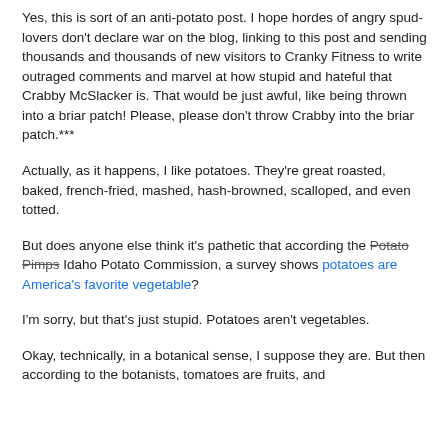Yes, this is sort of an anti-potato post. I hope hordes of angry spud-lovers don't declare war on the blog, linking to this post and sending thousands and thousands of new visitors to Cranky Fitness to write outraged comments and marvel at how stupid and hateful that Crabby McSlacker is. That would be just awful, like being thrown into a briar patch! Please, please don't throw Crabby into the briar patch.***
Actually, as it happens, I like potatoes. They're great roasted, baked, french-fried, mashed, hash-browned, scalloped, and even totted.
But does anyone else think it's pathetic that according the Potato Pimps Idaho Potato Commission, a survey shows potatoes are America's favorite vegetable?
I'm sorry, but that's just stupid. Potatoes aren't vegetables.
Okay, technically, in a botanical sense, I suppose they are. But then according to the botanists, tomatoes are fruits, and